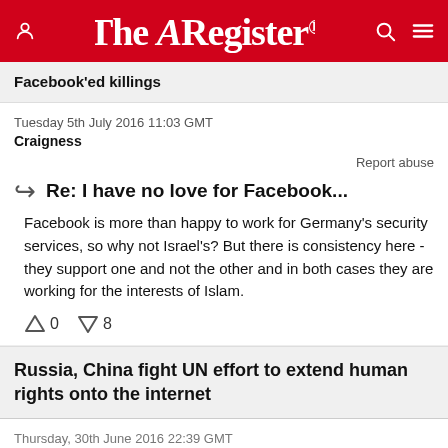The Register
Facebook'ed killings
Tuesday 5th July 2016 11:03 GMT
Craigness
Report abuse
Re: I have no love for Facebook...
Facebook is more than happy to work for Germany's security services, so why not Israel's? But there is consistency here - they support one and not the other and in both cases they are working for the interests of Islam.
0  8
Russia, China fight UN effort to extend human rights onto the internet
Thursday, 30th June 2016 22:39 GMT